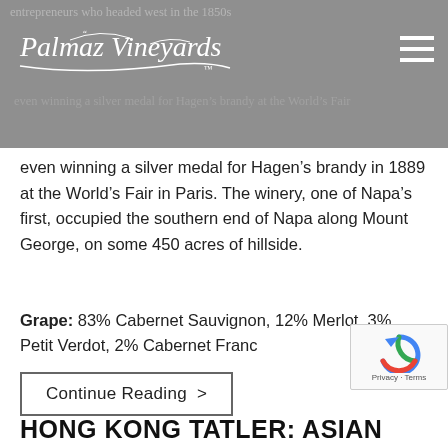Palmaz Vineyards
even winning a silver medal for Hagen’s brandy in 1889 at the World’s Fair in Paris. The winery, one of Napa’s first, occupied the southern end of Napa along Mount George, on some 450 acres of hillside.
Grape: 83% Cabernet Sauvignon, 12% Merlot, 3% Petit Verdot, 2% Cabernet Franc
Continue Reading >
HONG KONG TATLER: ASIAN